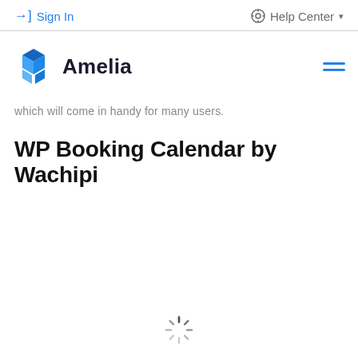Sign In   Help Center
[Figure (logo): Amelia logo - blue geometric hexagon/cube icon with text 'Amelia']
which will come in handy for many users.
WP Booking Calendar by Wachipi
[Figure (other): Loading spinner icon at the bottom center of the page]